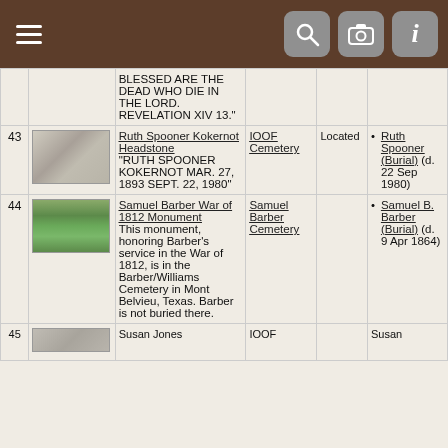Navigation header with menu, search, camera, and info icons
| # | Image | Description | Cemetery | Status | Person |
| --- | --- | --- | --- | --- | --- |
|  |  | BLESSED ARE THE DEAD WHO DIE IN THE LORD. REVELATION XIV 13." |  |  |  |
| 43 | [image] | Ruth Spooner Kokernot Headstone "RUTH SPOONER KOKERNOT MAR. 27, 1893 SEPT. 22, 1980" | IOOF Cemetery | Located | Ruth Spooner (Burial) (d. 22 Sep 1980) |
| 44 | [image] | Samuel Barber War of 1812 Monument This monument, honoring Barber's service in the War of 1812, is in the Barber/Williams Cemetery in Mont Belvieu, Texas. Barber is not buried there. | Samuel Barber Cemetery |  | Samuel B. Barber (Burial) (d. 9 Apr 1864) |
| 45 | [image] | Susan Jones... | IOOF... |  | Susan... |